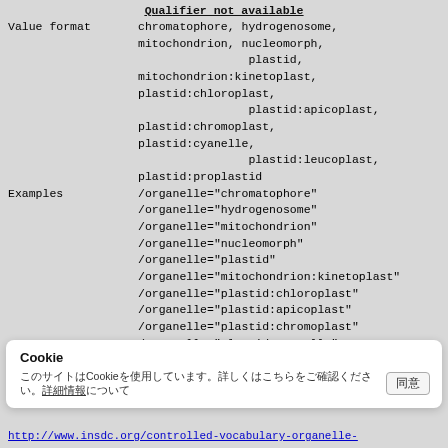Value format   chromatophore, hydrogenosome, mitochondrion, nucleomorph, plastid, mitochondrion:kinetoplast, plastid:chloroplast, plastid:apicoplast, plastid:chromoplast, plastid:cyanelle, plastid:leucoplast, plastid:proplastid
Examples   /organelle="chromatophore"
/organelle="hydrogenosome"
/organelle="mitochondrion"
/organelle="nucleomorph"
/organelle="plastid"
/organelle="mitochondrion:kinetoplast"
/organelle="plastid:chloroplast"
/organelle="plastid:apicoplast"
/organelle="plastid:chromoplast"
/organelle="plastid:cyanelle"
/organelle="plastid:leucoplast"
/organelle="plastid:proplastid"
Comments   modifier text limited to values from
Cookie
[Japanese text]
http://www.insdc.org/controlled-vocabulary-organelle-